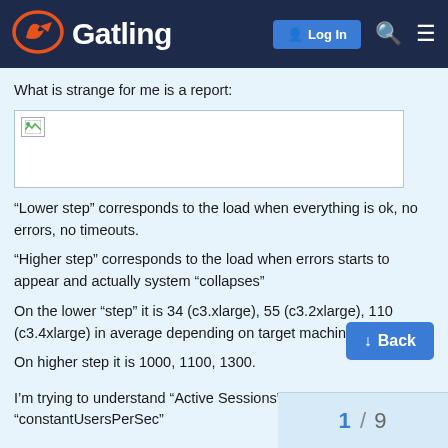Gatling — Log In
What is strange for me is a report:
[Figure (photo): Broken/unloaded image placeholder]
“Lower step” corresponds to the load when everything is ok, no errors, no timeouts.
“Higher step” corresponds to the load when errors starts to appear and actually system “collapses”
On the lower “step” it is 34 (c3.xlarge), 55 (c3.2xlarge), 110 (c3.4xlarge) in average depending on target machine.
On higher step it is 1000, 1100, 1300.
I’m trying to understand “Active Sessions” “constantUsersPerSec”